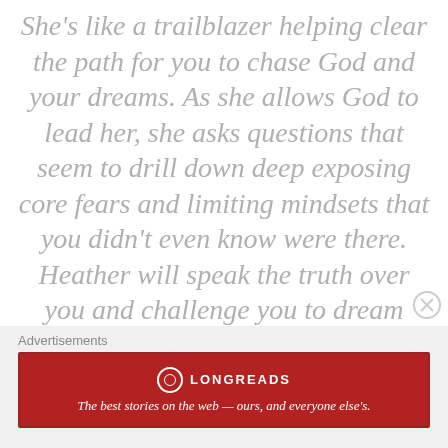She's like a trailblazer helping clear the path for you to chase God and your dreams. As she allows God to lead her, she asks questions that seem to drill down deep exposing core fears and limiting mindsets that you didn't even know were there. Heather will speak the truth over you and challenge you to dream bigger and color outside the lines.
T.C.
Advertisements — Longreads: The best stories on the web — ours, and everyone else's.